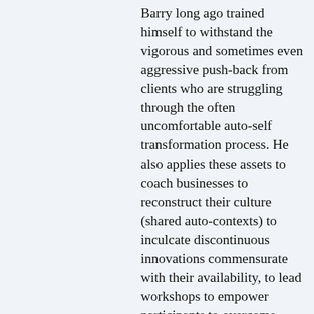Barry long ago trained himself to withstand the vigorous and sometimes even aggressive push-back from clients who are struggling through the often uncomfortable auto-self transformation process. He also applies these assets to coach businesses to reconstruct their culture (shared auto-contexts) to inculcate discontinuous innovations commensurate with their availability, to lead workshops to empower participants to overcome their own discomforts when transforming others, and to train transformation coaches using a round-robin process where each new coach both receives coaching and coaches a different participant.